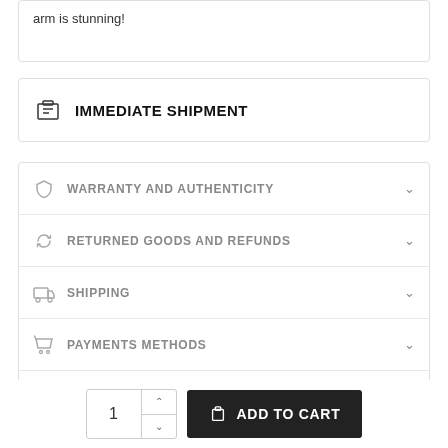arm is stunning!
IMMEDIATE SHIPMENT
WARRANTY AND AUTHENTICITY
RETURNED GOODS AND REFUNDS
SHIPPING
PAYMENTS METHODS
CONTACT
1  ADD TO CART